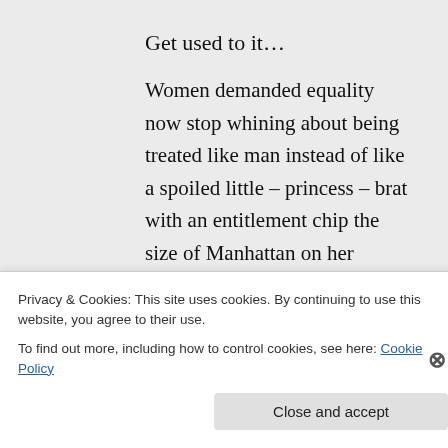Get used to it…
Women demanded equality now stop whining about being treated like man instead of like a spoiled little – princess – brat with an entitlement chip the size of Manhattan on her shoulder.
★ Like
Privacy & Cookies: This site uses cookies. By continuing to use this website, you agree to their use.
To find out more, including how to control cookies, see here: Cookie Policy
Close and accept